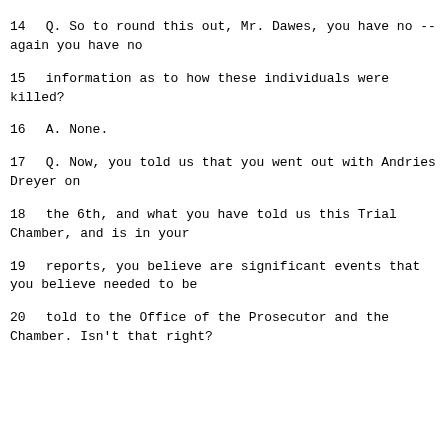14        Q.   So to round this out, Mr. Dawes, you have no -- again you have no
15      information as to how these individuals were killed?
16        A.   None.
17        Q.   Now, you told us that you went out with Andries Dreyer on
18      the 6th, and what you have told us this Trial Chamber, and is in your
19      reports, you believe are significant events that you believe needed to be
20      told to the Office of the Prosecutor and the Chamber.  Isn't that right?